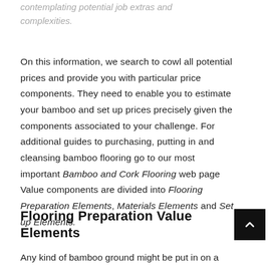contemplating potential job extras and complexities.
On this information, we search to cowl all potential prices and provide you with particular price components. They need to enable you to estimate your bamboo and set up prices precisely given the components associated to your challenge. For additional guides to purchasing, putting in and cleansing bamboo flooring go to our most important Bamboo and Cork Flooring web page Value components are divided into Flooring Preparation Elements, Materials Elements and Set up Elements.
Flooring Preparation Value Elements
Any kind of bamboo ground might be put in on a wooden subfloor. Solely engineered